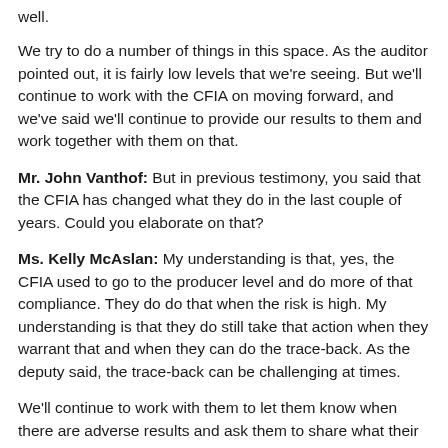well.
We try to do a number of things in this space. As the auditor pointed out, it is fairly low levels that we're seeing. But we'll continue to work with the CFIA on moving forward, and we've said we'll continue to provide our results to them and work together with them on that.
Mr. John Vanthof: But in previous testimony, you said that the CFIA has changed what they do in the last couple of years. Could you elaborate on that?
Ms. Kelly McAslan: My understanding is that, yes, the CFIA used to go to the producer level and do more of that compliance. They do do that when the risk is high. My understanding is that they do still take that action when they warrant that and when they can do the trace-back. As the deputy said, the trace-back can be challenging at times.
We'll continue to work with them to let them know when there are adverse results and ask them to share what their